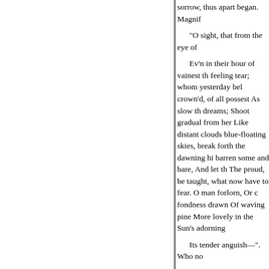sorrow, thus apart began. Magnif

“O sight, that from the eye of

Ev’n in their hour of vainest th feeling tear; whom yesterday bel crown’d, of all possest As slow th dreams; Shoot gradual from her Like distant clouds blue-floating skies, break forth the dawning hi barren some and bare, And let th The proud, be taught, what now have to fear. O man forlorn, Or c fondness drawn Of waving pine More lovely in the Sun’s adorning

Its tender anguish—”. Who nc

“ Hear me, Heaven!” exclaim’ that anguish rise

Meanwhile Aurelius, wak’d from sheds in timely dews I yet would

From what I feel, the keener p

For ever freed. To me the Sun

To me the future flight of day.